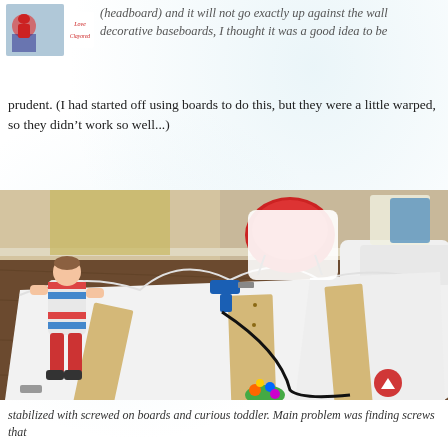Love Clayored
(headboard) and it will not go exactly up against the wall decorative baseboards, I thought it was a good idea to be
prudent. (I had started off using boards to do this, but they were a little warped, so they didn’t work so well...)
[Figure (photo): A toddler standing near large white MDF/plywood headboard pieces laid out on the floor. A power drill with black cord is visible on the pieces. Two wooden boards are screwed onto the white pieces. A red bicycle helmet and other items are in the background. A colorful toy is near the bottom center.]
stabilized with screwed on boards and curious toddler. Main problem was finding screws that